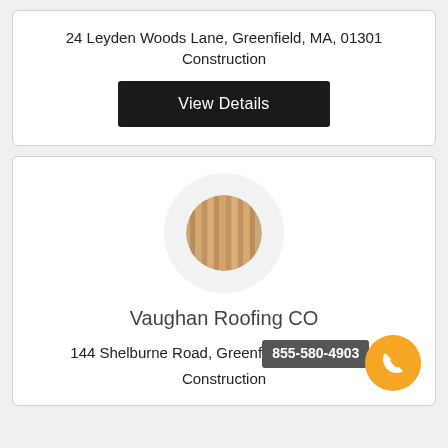24 Leyden Woods Lane, Greenfield, MA, 01301
Construction
View Details
[Figure (logo): Circular logo with wood slat texture in brown tones, inside a light gray outer circle]
Vaughan Roofing CO
144 Shelburne Road, Greenfield, MA 01301
Construction
855-580-4903